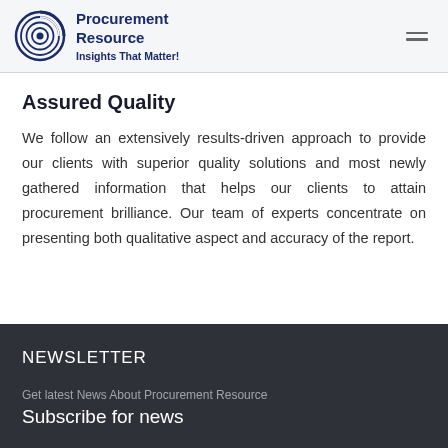Procurement Resource — Insights That Matter!
Assured Quality
We follow an extensively results-driven approach to provide our clients with superior quality solutions and most newly gathered information that helps our clients to attain procurement brilliance. Our team of experts concentrate on presenting both qualitative aspect and accuracy of the report.
NEWSLETTER
Get latest News About Procurement Resource
Subscribe for news